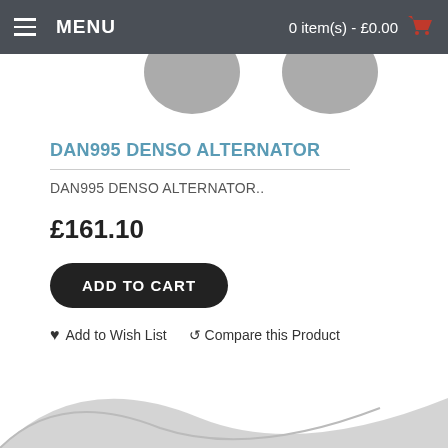MENU  0 item(s) - £0.00
[Figure (screenshot): Decorative grey circles partially visible at top of page below header]
DAN995 DENSO ALTERNATOR
DAN995 DENSO ALTERNATOR..
£161.10
ADD TO CART
♥ Add to Wish List  🔃 Compare this Product
[Figure (illustration): Decorative grey swoosh / wing shape at bottom of page]